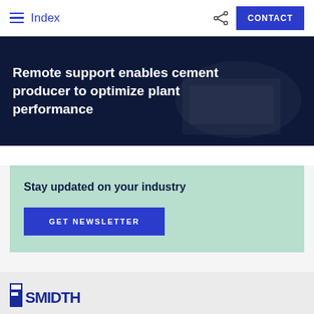Index | CONTACT
Remote support enables cement producer to optimize plant performance
Stay updated on your industry
GET NEWSLETTER